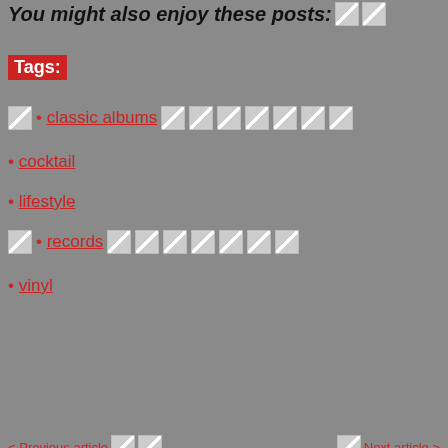You might also enjoy these posts:
Tags:
classic albums
cocktail
lifestyle
records
vinyl
< Previous article
Artist Spotlight – Bleeding Raven
Next article >
Artist Spotlight – Underwing
Search here ...
Top Posts & Pages
[Figure (photo): Thumbnail of a post showing a motorcycle or vehicle, partially visible]